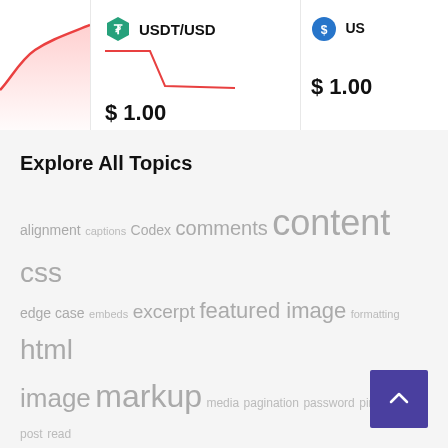[Figure (line-chart): Partial red line chart visible at left edge of top bar, showing a rising curve with pink fill]
[Figure (continuous-plot): USDT/USD mini line chart showing red line dropping sharply then leveling off at $1.00]
USDT/USD
$ 1.00
$ 1.00
Explore All Topics
alignment captions Codex comments content css edge case embeds excerpt featured image formatting html image markup media pagination password pingbacks post read more template title trackbacks twitter
Get In Touch
Address 775 New York Ave